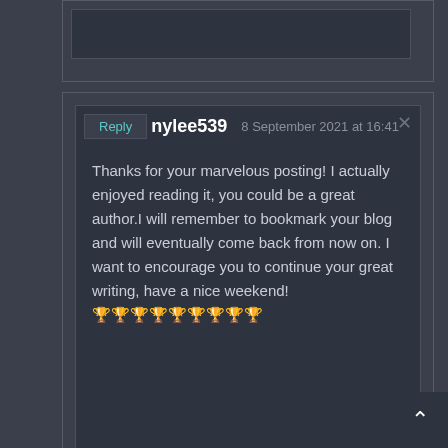(partial comment block at top, clipped)
Reply   nylee539   8 September 2021 at 16:41
Thanks for your marvelous posting! I actually enjoyed reading it, you could be a great author.I will remember to bookmark your blog and will eventually come back from now on. I want to encourage you to continue your great writing, have a nice weekend!
🏆🏆🏆🏆🏆🏆🏆🏆🏆
Reply   ational Services   8 September 2021 at 22:19
Thanks For Sharing
such a wonderful article the way you presented is